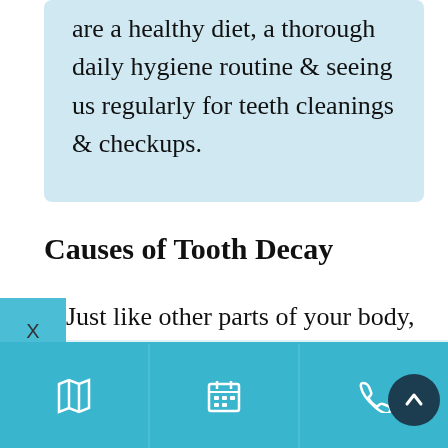are a healthy diet, a thorough daily hygiene routine & seeing us regularly for teeth cleanings & checkups.
Causes of Tooth Decay
Just like other parts of your body, your mouth is populated by both good & bad bacteria. When you don't care for yours properly, you can end up creating an